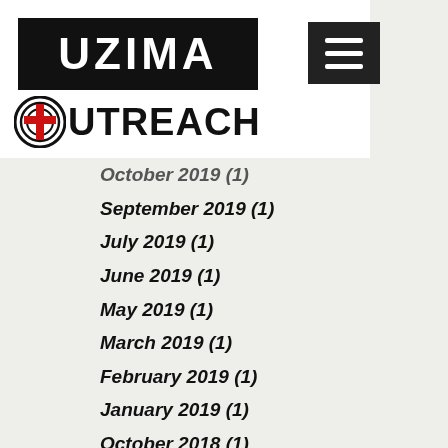[Figure (logo): UZIMA OUTREACH logo with cross icon on black background bar and outreach text]
October 2019 (1)
September 2019 (1)
July 2019 (1)
June 2019 (1)
May 2019 (1)
March 2019 (1)
February 2019 (1)
January 2019 (1)
October 2018 (1)
May 2018 (1)
March 2018 (1)
January 2018 (1)
December 2017 (1)
November 2017 (2)
September 2017 (1)
November 2016 (1)
October 2016 (1)